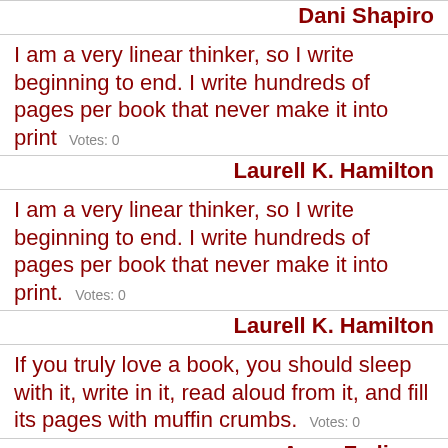Dani Shapiro
I am a very linear thinker, so I write beginning to end. I write hundreds of pages per book that never make it into print  Votes: 0
Laurell K. Hamilton
I am a very linear thinker, so I write beginning to end. I write hundreds of pages per book that never make it into print.  Votes: 0
Laurell K. Hamilton
If you truly love a book, you should sleep with it, write in it, read aloud from it, and fill its pages with muffin crumbs.  Votes: 0
Anne Fadiman